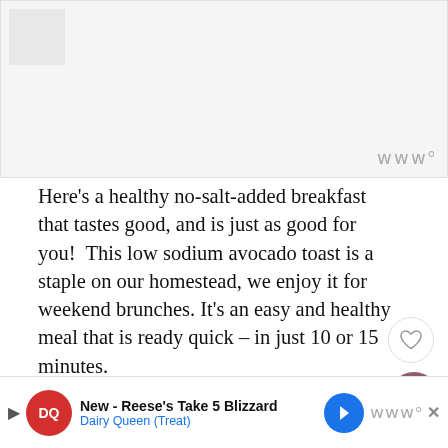[Figure (photo): Food photo placeholder area, light gray background with a small square watermark thumbnail in top left corner]
Here’s a healthy no-salt-added breakfast that tastes good, and is just as good for you!  This low sodium avocado toast is a staple on our homestead, we enjoy it for weekend brunches. It’s an easy and healthy meal that is ready quick – in just 10 or 15 minutes.
I love the balance of flavor in this toast: it’s a little sweet, creamy, and crunchy. You can add your favorite toppings too: sprouts, a fried egg, or just fresh cra... ood you use...
[Figure (photo): WHAT'S NEXT overlay with small circular food thumbnail and text: Garlic Mushroom...]
[Figure (screenshot): Dairy Queen advertisement banner: New - Reese's Take 5 Blizzard, Dairy Queen (Treat)]